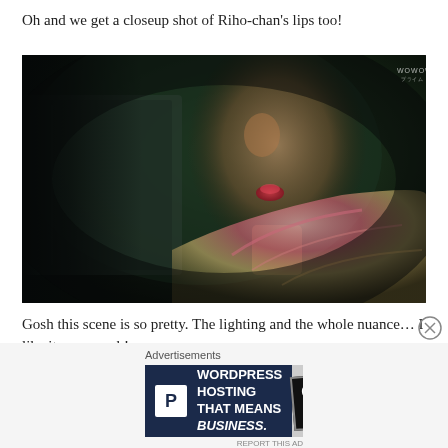Oh and we get a closeup shot of Riho-chan's lips too!
[Figure (photo): Close-up cinematic shot of a person's profile (lips and nose visible) with dramatic dark green and teal background lighting. The subject appears to be wearing a colorful pink and yellow garment. A watermark reading 'WOWOW' appears in the top right corner.]
Gosh this scene is so pretty. The lighting and the whole nuance… I like it very much!
Advertisements
[Figure (screenshot): Advertisement banner: WordPress Hosting That Means Business. Dark navy background with P icon and an OPEN sign image on the right.]